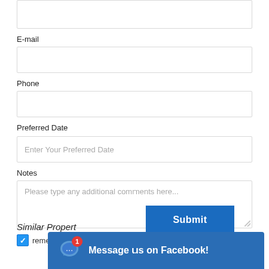[Figure (screenshot): Form input field (top, partially visible, no label)]
E-mail
[Figure (screenshot): E-mail text input field]
Phone
[Figure (screenshot): Phone text input field]
Preferred Date
[Figure (screenshot): Preferred Date text input field with placeholder 'Enter Your Preferred Date']
Notes
[Figure (screenshot): Notes textarea with placeholder 'Please type any additional comments here...']
remember my information (?)
[Figure (screenshot): Submit button (blue)]
[Figure (screenshot): Facebook message banner: 'Message us on Facebook!' with notification badge showing 1]
Similar Propert...